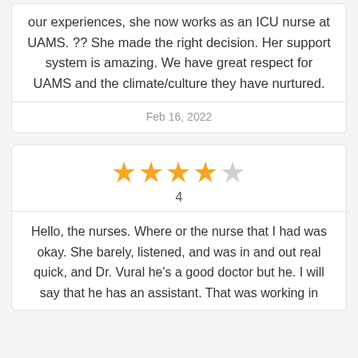our experiences, she now works as an ICU nurse at UAMS. ?? She made the right decision. Her support system is amazing. We have great respect for UAMS and the climate/culture they have nurtured.
Feb 16, 2022
[Figure (other): 4 out of 5 star rating shown as 4 filled gold stars and 1 empty star, with the number 4 below]
Hello, the nurses. Where or the nurse that I had was okay. She barely, listened, and was in and out real quick, and Dr. Vural he's a good doctor but he. I will say that he has an assistant. That was working in